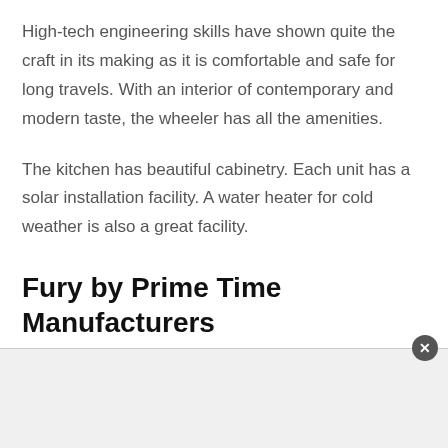High-tech engineering skills have shown quite the craft in its making as it is comfortable and safe for long travels. With an interior of contemporary and modern taste, the wheeler has all the amenities.
The kitchen has beautiful cabinetry. Each unit has a solar installation facility. A water heater for cold weather is also a great facility.
Fury by Prime Time Manufacturers
[Figure (other): Advertisement banner area with a close button (X) in the top-right corner, gray background]